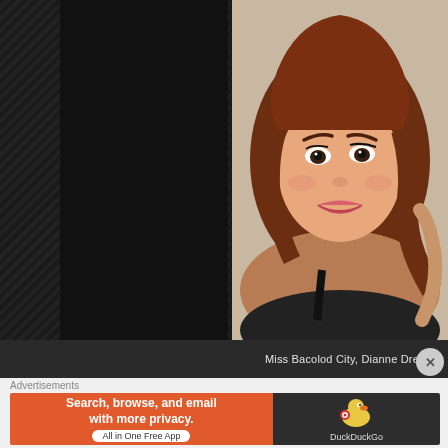[Figure (photo): Screenshot of a webpage showing a portrait photo of Miss Bacolod City, Dianne Dreyfus — a young woman with auburn wavy hair and a smile, on a dark background]
Miss Bacolod City, Dianne Dreyfus
Advertisements
[Figure (screenshot): DuckDuckGo advertisement banner: orange left panel reading 'Search, browse, and email with more privacy. All in One Free App', dark right panel with DuckDuckGo logo and duck icon]